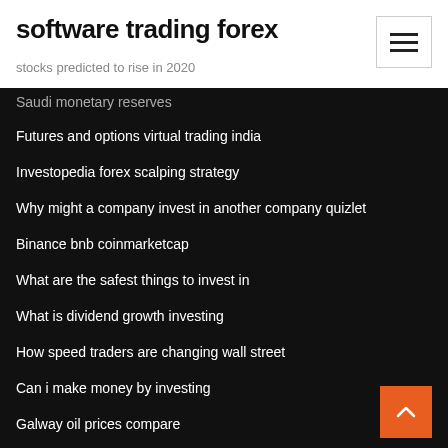software trading forex
stocks predicted to rise in 2020
Saudi monetary reserves
Futures and options virtual trading india
Investopedia forex scalping strategy
Why might a company invest in another company quizlet
Binance bnb coinmarketcap
What are the safest things to invest in
What is dividend growth investing
How speed traders are changing wall street
Can i make money by investing
Galway oil prices compare